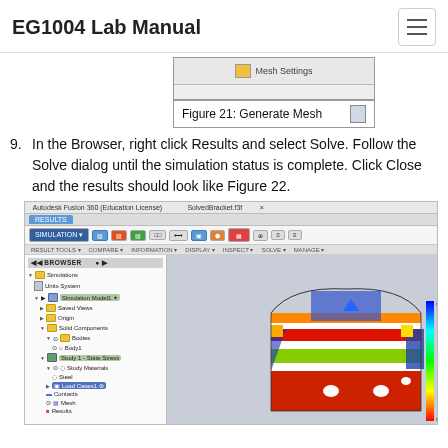EG1004 Lab Manual
[Figure (screenshot): Partial screenshot showing Mesh Settings button in Autodesk Fusion 360]
Figure 21: Generate Mesh
9. In the Browser, right click Results and select Solve. Follow the Solve dialog until the simulation status is complete. Click Close and the results should look like Figure 22.
[Figure (screenshot): Screenshot of Autodesk Fusion 360 (Education License) showing the simulation results with a color stress map on a bracket model, with browser tree on the left showing Studies, Study Materials, Load Cases, Contacts, Mesh, Results.]